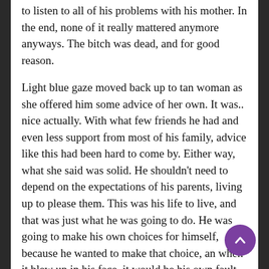to listen to all of his problems with his mother. In the end, none of it really mattered anymore anyways. The bitch was dead, and for good reason.
Light blue gaze moved back up to tan woman as she offered him some advice of her own. It was.. nice actually. With what few friends he had and even less support from most of his family, advice like this had been hard to come by. Either way, what she said was solid. He shouldn't need to depend on the expectations of his parents, living up to please them. This was his life to live, and that was just what he was going to do. He was going to make his own choices for himself, because he wanted to make that choice, an when it blew up in his face, it would be his own fault.
…Guess in a way that made it his fault he believed in his mother for as long as he did.
A grin grew across Hibiki's face to Kalypso's second piece of advice. He needed to be more impulsive? Maybe he All his life he had done nothing but think things through, considering every outcome before he made his choice